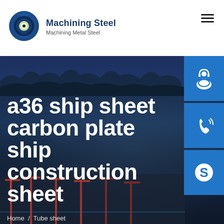[Figure (logo): Machining Steel gear logo — circular gear icon in dark blue with a glowing center]
Machining Steel
Machining Metal Steel
[Figure (photo): Hero background photo showing a port/shipyard at dusk with cranes and dark blue sky with mountains in background]
[Figure (infographic): Blue sidebar button with headset/customer service icon]
[Figure (infographic): Blue sidebar button with phone/call icon]
[Figure (infographic): Blue sidebar button with Skype S icon]
a36 ship sheet carbon plate ship construction sheet
Home  /  Tube sheet